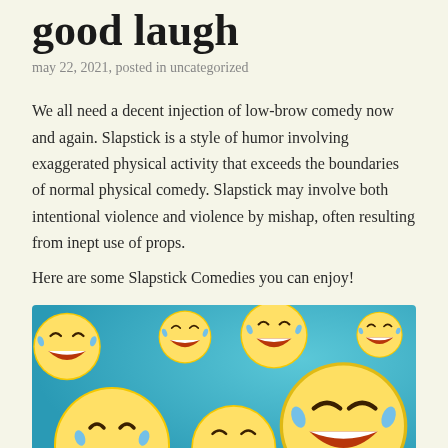good laugh
may 22, 2021, posted in uncategorized
We all need a decent injection of low-brow comedy now and again. Slapstick is a style of humor involving exaggerated physical activity that exceeds the boundaries of normal physical comedy. Slapstick may involve both intentional violence and violence by mishap, often resulting from inept use of props.
Here are some Slapstick Comedies you can enjoy!
[Figure (photo): A cluster of 3D laughing-crying emoji faces on a blue background, scattered in various sizes and orientations]